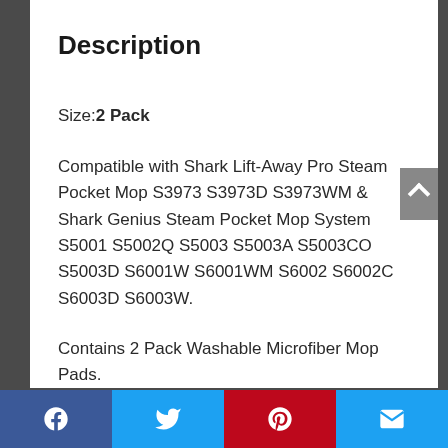Description
Size: 2 Pack
Compatible with Shark Lift-Away Pro Steam Pocket Mop S3973 S3973D S3973WM & Shark Genius Steam Pocket Mop System S5001 S5002Q S5003 S5003A S5003CO S5003D S6001W S6001WM S6002 S6002C S6003D S6003W.
Contains 2 Pack Washable Microfiber Mop Pads.